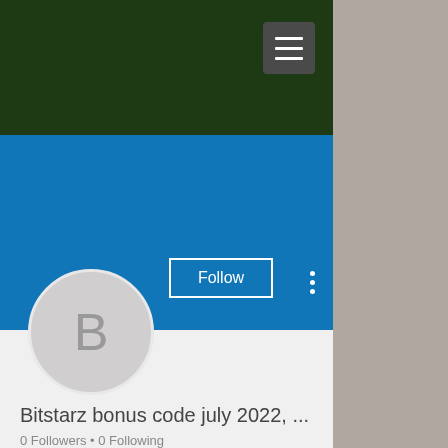[Figure (screenshot): Dark green navigation header bar with hamburger menu button (three horizontal lines) on the right side]
[Figure (screenshot): Blue profile header bar with Follow button outlined in white and three-dot menu icon, with circular avatar showing letter B]
Bitstarz bonus code july 2022, ...
0 Followers • 0 Following
Profile
Join date: Jun 20, 2022